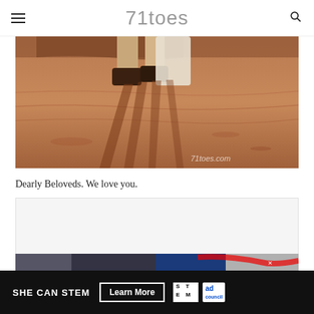71toes
[Figure (photo): Close-up photograph of feet and legs standing on sandy/rocky desert ground with long shadows cast on the red sandy soil. A watermark '71toes.com' is visible in the lower right corner of the image.]
Dearly Beloveds. We love you.
[Figure (other): Light gray rectangular content placeholder box]
[Figure (other): SHE CAN STEM advertisement banner with dark background showing text 'SHE CAN STEM', a 'Learn More' button, STEM logo, Ad Council logo]